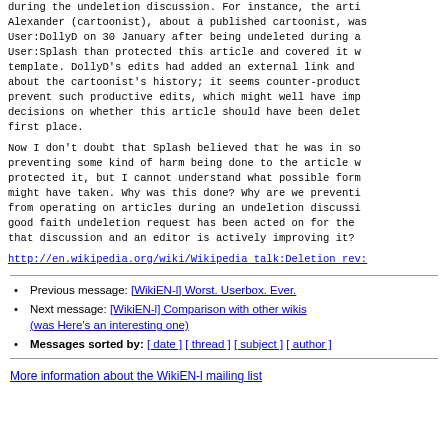during the undeletion discussion. For instance, the article Alexander (cartoonist), about a published cartoonist, was re-created by User:DollyD on 30 January after being undeleted during a discussion. User:Splash than protected this article and covered it with a template. DollyD's edits had added an external link and fixed information about the cartoonist's history; it seems counter-productive to prevent such productive edits, which might well have impacted decisions on whether this article should have been deleted in the first place.
Now I don't doubt that Splash believed that he was in some way preventing some kind of harm being done to the article when he protected it, but I cannot understand what possible form of harm this might have taken. Why was this done? Why are we preventing editors from operating on articles during an undeletion discussion when a good faith undeletion request has been acted on for the purposes of that discussion and an editor is actively improving it?
http://en.wikipedia.org/wiki/Wikipedia_talk:Deletion_rev...
Previous message: [WikiEN-l] Worst. Userbox. Ever.
Next message: [WikiEN-l] Comparison with other wikis (was Here's an interesting one)
Messages sorted by: [ date ] [ thread ] [ subject ] [ author ]
More information about the WikiEN-l mailing list